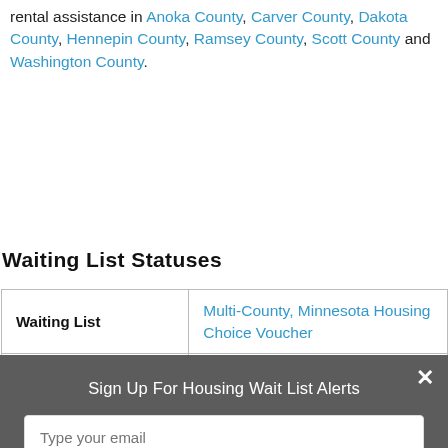rental assistance in Anoka County, Carver County, Dakota County, Hennepin County, Ramsey County, Scott County and Washington County.
Waiting List Statuses
| Waiting List | Multi-County, Minnesota Housing Choice Voucher |
| --- | --- |
| Housing Program | Closed |
Sign Up For Housing Wait List Alerts
Type your email
Sign Up